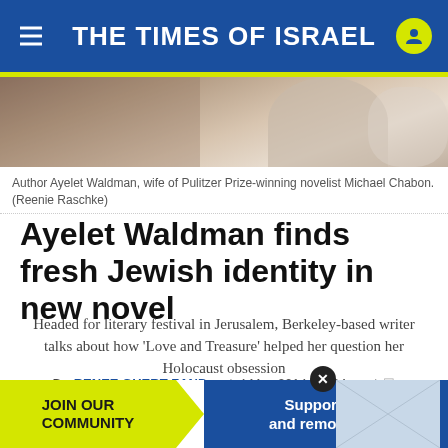THE TIMES OF ISRAEL
[Figure (photo): Partial photo of author Ayelet Waldman]
Author Ayelet Waldman, wife of Pulitzer Prize-winning novelist Michael Chabon. (Reenie Raschke)
Ayelet Waldman finds fresh Jewish identity in new novel
Headed for literary festival in Jerusalem, Berkeley-based writer talks about how 'Love and Treasure' helped her question her Holocaust obsession
By RENEE GHERT-ZAND | 4 May 2014, 12:04 pm |
[Figure (infographic): Social share buttons: Facebook, Twitter, LinkedIn, Email, WhatsApp]
[Figure (infographic): Ad banner: JOIN OUR COMMUNITY | Support ToI and remove ads]
Autho...salem